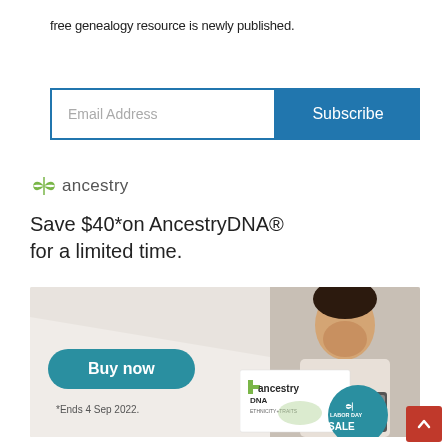free genealogy resource is newly published.
[Figure (screenshot): Email subscription form with 'Email Address' input field and blue 'Subscribe' button]
[Figure (infographic): Ancestry.com advertisement: 'Save $40* on AncestryDNA® for a limited time.' with 'Buy now' button, '*Ends 4 Sep 2022.' text, smiling man with laptop, AncestryDNA kit box, and Labor Day Sale badge]